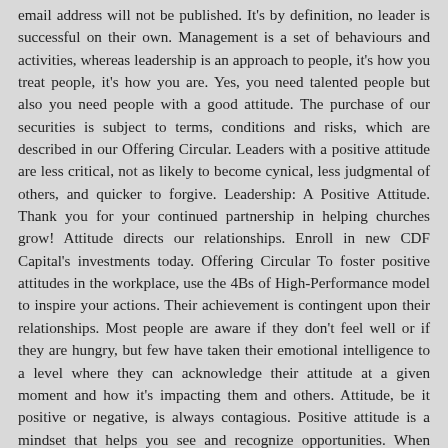email address will not be published. It's by definition, no leader is successful on their own. Management is a set of behaviours and activities, whereas leadership is an approach to people, it's how you treat people, it's how you are. Yes, you need talented people but also you need people with a good attitude. The purchase of our securities is subject to terms, conditions and risks, which are described in our Offering Circular. Leaders with a positive attitude are less critical, not as likely to become cynical, less judgmental of others, and quicker to forgive. Leadership: A Positive Attitude. Thank you for your continued partnership in helping churches grow! Attitude directs our relationships. Enroll in new CDF Capital's investments today. Offering Circular To foster positive attitudes in the workplace, use the 4Bs of High-Performance model to inspire your actions. Their achievement is contingent upon their relationships. Most people are aware if they don't feel well or if they are hungry, but few have taken their emotional intelligence to a level where they can acknowledge their attitude at a given moment and how it's impacting them and others. Attitude, be it positive or negative, is always contagious. Positive attitude is a mindset that helps you see and recognize opportunities. When people feel appreciated, they become more confident and productive. You will be amazed at how quickly changes in your attitude affect your own